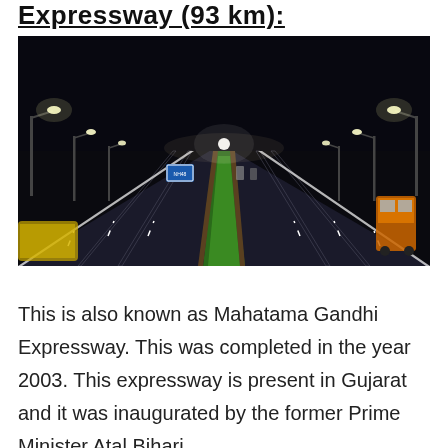Expressway (93 km):
[Figure (photo): Nighttime aerial view of a wide multi-lane expressway with green median strip, street lights on both sides, and vehicles on the road.]
This is also known as Mahatama Gandhi Expressway. This was completed in the year 2003. This expressway is present in Gujarat and it was inaugurated by the former Prime Minister Atal Bihari